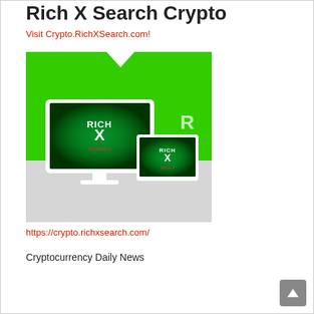Rich X Search Crypto
Visit Crypto.RichXSearch.com!
[Figure (illustration): Rich X Search Crypto promotional image showing monitor and tablet with green glowing Rich X Search logo on green background with grey floor reflection]
https://crypto.richxsearch.com/
Cryptocurrency Daily News